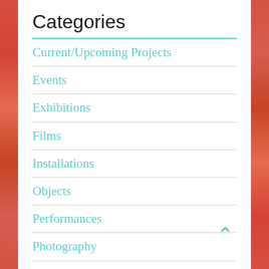Categories
Current/Upcoming Projects
Events
Exhibitions
Films
Installations
Objects
Performances
Photography
Portfolio
Short Films
Uncategorized